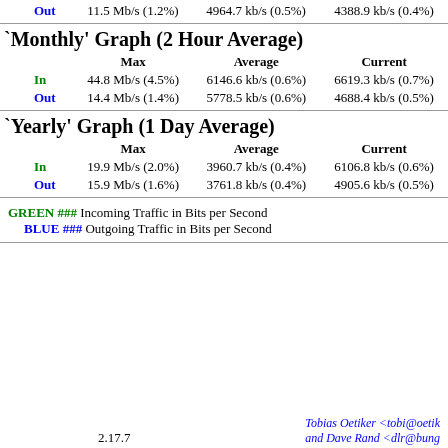|  | Max | Average | Current |
| --- | --- | --- | --- |
| Out | 11.5 Mb/s (1.2%) | 4964.7 kb/s (0.5%) | 4388.9 kb/s (0.4%) |
`Monthly' Graph (2 Hour Average)
|  | Max | Average | Current |
| --- | --- | --- | --- |
| In | 44.8 Mb/s (4.5%) | 6146.6 kb/s (0.6%) | 6619.3 kb/s (0.7%) |
| Out | 14.4 Mb/s (1.4%) | 5778.5 kb/s (0.6%) | 4688.4 kb/s (0.5%) |
`Yearly' Graph (1 Day Average)
|  | Max | Average | Current |
| --- | --- | --- | --- |
| In | 19.9 Mb/s (2.0%) | 3960.7 kb/s (0.4%) | 6106.8 kb/s (0.6%) |
| Out | 15.9 Mb/s (1.6%) | 3761.8 kb/s (0.4%) | 4905.6 kb/s (0.5%) |
GREEN ### Incoming Traffic in Bits per Second
BLUE ### Outgoing Traffic in Bits per Second
2.17.7   Tobias Oetiker <tobi@oetik... and Dave Rand <dlr@bung...